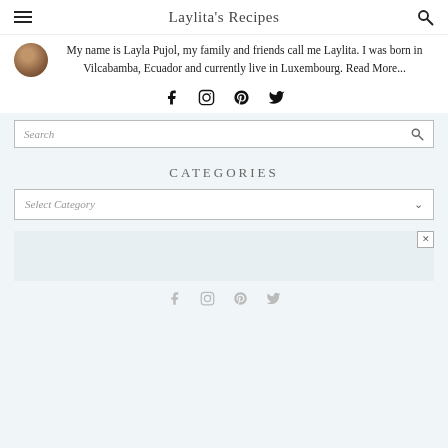Laylita's Recipes
My name is Layla Pujol, my family and friends call me Laylita. I was born in Vilcabamba, Ecuador and currently live in Luxembourg. Read More...
[Figure (infographic): Social media icons: Facebook, Instagram, Pinterest, Twitter]
Search
CATEGORIES
Select Category
[Figure (infographic): Footer social media icons: Facebook, Instagram, Pinterest, Twitter (gray)]